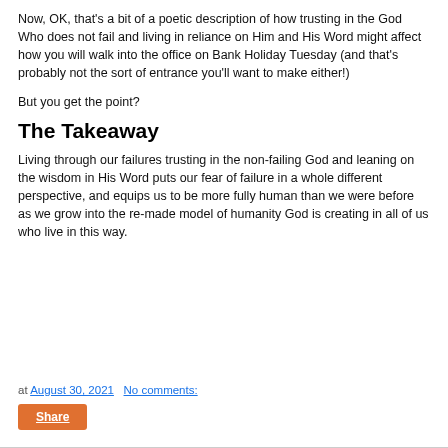Now, OK, that's a bit of a poetic description of how trusting in the God Who does not fail and living in reliance on Him and His Word might affect how you will walk into the office on Bank Holiday Tuesday (and that's probably not the sort of entrance you'll want to make either!)
But you get the point?
The Takeaway
Living through our failures trusting in the non-failing God and leaning on the wisdom in His Word puts our fear of failure in a whole different perspective, and equips us to be more fully human than we were before as we grow into the re-made model of humanity God is creating in all of us who live in this way.
at August 30, 2021   No comments:   Share